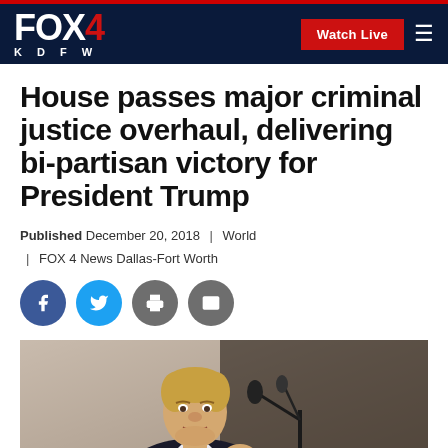FOX 4 KDFW — Watch Live
House passes major criminal justice overhaul, delivering bi-partisan victory for President Trump
Published December 20, 2018 | World | FOX 4 News Dallas-Fort Worth
[Figure (photo): Photo of President Trump speaking at a podium with microphones]
[Figure (infographic): Social media sharing icons: Facebook, Twitter, Print, Email]